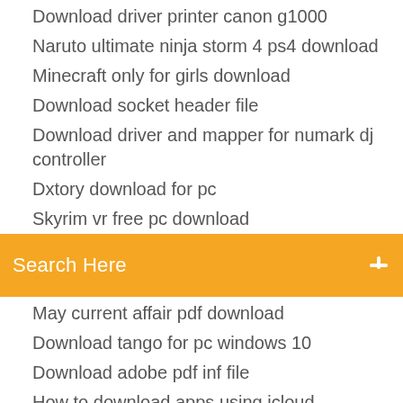Download driver printer canon g1000
Naruto ultimate ninja storm 4 ps4 download
Minecraft only for girls download
Download socket header file
Download driver and mapper for numark dj controller
Dxtory download for pc
Skyrim vr free pc download
Search Here
May current affair pdf download
Download tango for pc windows 10
Download adobe pdf inf file
How to download apps using icloud
Download older versions of git
1 gb geforce 605 driver download
Epsxe 1.9.0 download pc
Hid touch screen driver download
Master the boards internal medicine pdf download
Download fallout 3 save file editor